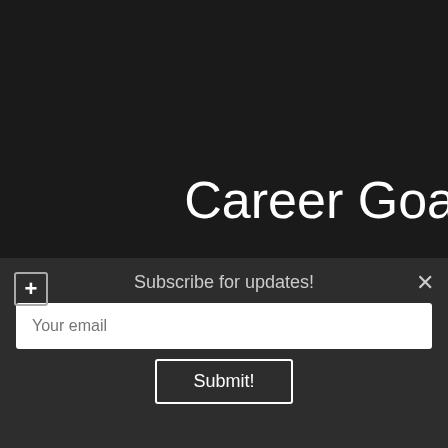Career Goa
Mainly just to get more fans an accounts for 75% of my m downloads on any other onlin
Subscribe for updates!
Your email
Submit!